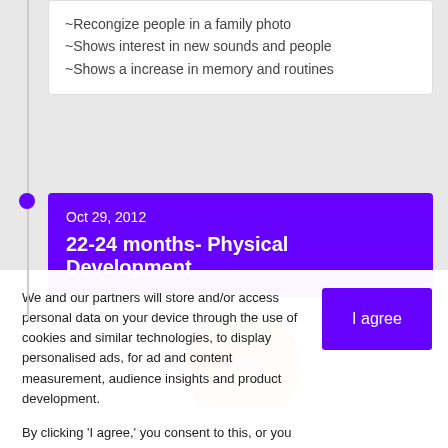~Recongize people in a family photo
~Shows interest in new sounds and people
~Shows a increase in memory and routines
Oct 29, 2012
22-24 months- Physical Development
[Figure (photo): Photo of a toddler/baby looking downward]
We and our partners will store and/or access personal data on your device through the use of cookies and similar technologies, to display personalised ads, for ad and content measurement, audience insights and product development.

By clicking 'I agree,' you consent to this, or you can manage your preferences.